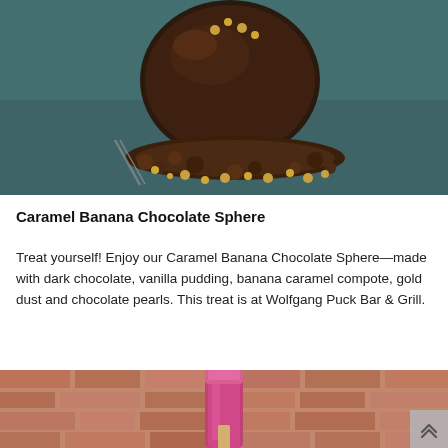[Figure (photo): Close-up photo of a dark chocolate sphere dessert with gold dust, chocolate pearls, and gold decorative beads on a dark slate surface with a fork visible.]
Caramel Banana Chocolate Sphere
Treat yourself! Enjoy our Caramel Banana Chocolate Sphere—made with dark chocolate, vanilla pudding, banana caramel compote, gold dust and chocolate pearls. This treat is at Wolfgang Puck Bar & Grill.
[Figure (photo): Photo of a pink/purple popsicle being held up against a blurred brick wall background.]